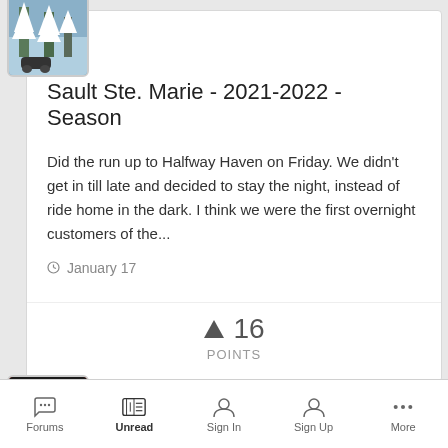[Figure (photo): Avatar thumbnail: snowy winter scene with trees and a snowmobile]
Sault Ste. Marie - 2021-2022 - Season
Did the run up to Halfway Haven on Friday. We didn't get in till late and decided to stay the night, instead of ride home in the dark. I think we were the first overnight customers of the...
January 17
16 POINTS
[Figure (photo): Avatar thumbnail: red snowmobile racing image]
Sault Ste. Marie - 2021-2022 - Season
Forums   Unread   Sign In   Sign Up   More